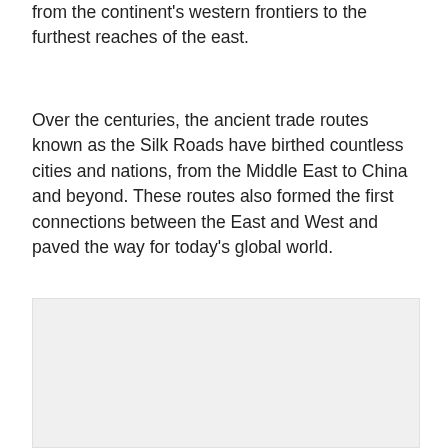from the continent's western frontiers to the furthest reaches of the east.
Over the centuries, the ancient trade routes known as the Silk Roads have birthed countless cities and nations, from the Middle East to China and beyond. These routes also formed the first connections between the East and West and paved the way for today's global world.
[Figure (photo): A light gray rectangular image placeholder area at the bottom of the page.]